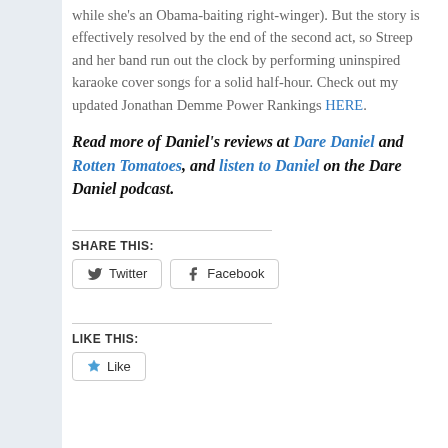while she's an Obama-baiting right-winger). But the story is effectively resolved by the end of the second act, so Streep and her band run out the clock by performing uninspired karaoke cover songs for a solid half-hour. Check out my updated Jonathan Demme Power Rankings HERE.
Read more of Daniel's reviews at Dare Daniel and Rotten Tomatoes, and listen to Daniel on the Dare Daniel podcast.
SHARE THIS:
Twitter
Facebook
LIKE THIS:
Like